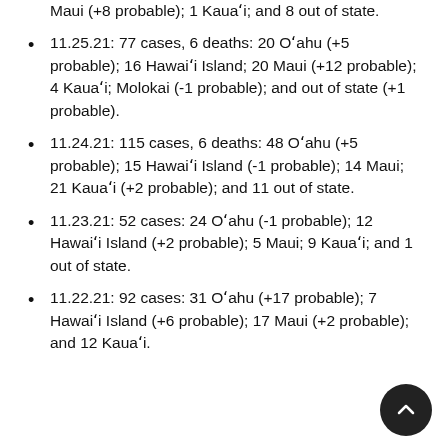Maui (+8 probable); 1 Kaua'i; and 8 out of state.
11.25.21: 77 cases, 6 deaths: 20 O'ahu (+5 probable); 16 Hawai'i Island; 20 Maui (+12 probable); 4 Kaua'i; Molokai (-1 probable); and out of state (+1 probable).
11.24.21: 115 cases, 6 deaths: 48 O'ahu (+5 probable); 15 Hawai'i Island (-1 probable); 14 Maui; 21 Kaua'i (+2 probable); and 11 out of state.
11.23.21: 52 cases: 24 O'ahu (-1 probable); 12 Hawai'i Island (+2 probable); 5 Maui; 9 Kaua'i; and 1 out of state.
11.22.21: 92 cases: 31 O'ahu (+17 probable); 7 Hawai'i Island (+6 probable); 17 Maui (+2 probable); and 12 Kaua'i.